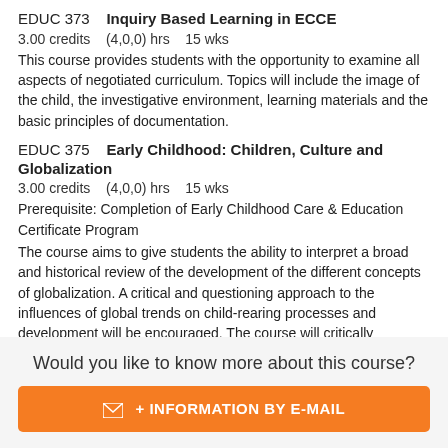EDUC 373    Inquiry Based Learning in ECCE
3.00 credits    (4,0,0) hrs    15 wks
This course provides students with the opportunity to examine all aspects of negotiated curriculum. Topics will include the image of the child, the investigative environment, learning materials and the basic principles of documentation.
EDUC 375    Early Childhood: Children, Culture and Globalization
3.00 credits    (4,0,0) hrs    15 wks
Prerequisite: Completion of Early Childhood Care & Education Certificate Program
The course aims to give students the ability to interpret a broad and historical review of the development of the different concepts of globalization. A critical and questioning approach to the influences of global trends on child-rearing processes and development will be encouraged. The course will critically examine the concept and definitions and...
Would you like to know more about this course?
+ INFORMATION BY E-MAIL